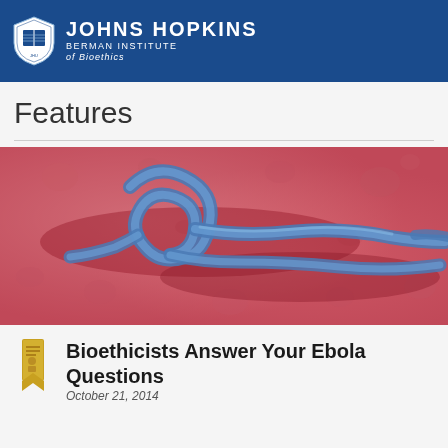[Figure (logo): Johns Hopkins Berman Institute of Bioethics logo with shield emblem on blue background header bar]
Features
[Figure (photo): Microscopic image of the Ebola virus showing blue filamentous strands against a pink/red textured background]
[Figure (illustration): Small gold bookmark/ribbon icon for article]
Bioethicists Answer Your Ebola Questions
October 21, 2014